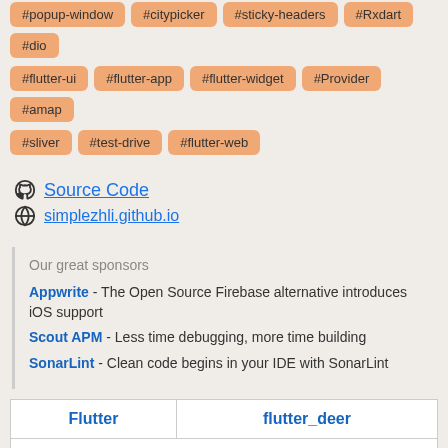#popup-window #citypicker #sticky-headers #Rxdart #dio
#flutter-ui #flutter-app #flutter-widget #Provider #amap
#sliver #test-drive #flutter-web
Source Code
simplezhli.github.io
Our great sponsors
Appwrite - The Open Source Firebase alternative introduces iOS support
Scout APM - Less time debugging, more time building
SonarLint - Clean code begins in your IDE with SonarLint
| Flutter | flutter_deer |
| --- | --- |
| Project |  |